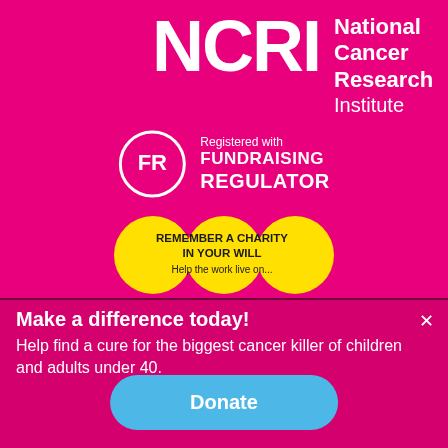[Figure (logo): NCRI National Cancer Research Institute logo on pink/magenta background with large white letters NCRI and text 'National Cancer Research Institute' to the right]
[Figure (logo): Fundraising Regulator badge: white circle with FR inside, text 'Registered with FUNDRAISING REGULATOR' in white on magenta background]
[Figure (logo): Remember a Charity in Your Will badge: overlapping yellow circles with text 'REMEMBER A CHARITY IN YOUR WILL Help the work live on...' in black]
Make a difference today!
Help find a cure for the biggest cancer killer of children and adults under 40.
Donate